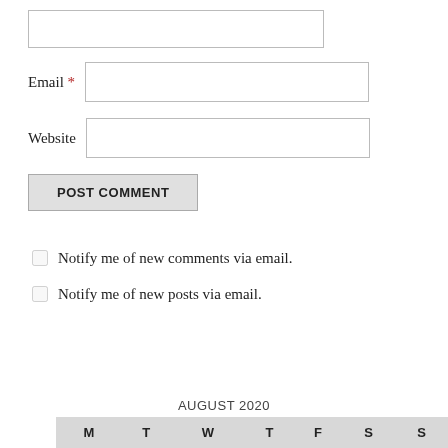[Figure (screenshot): Empty text input box at top of comment form]
Email *
[Figure (screenshot): Email text input box]
Website
[Figure (screenshot): Website text input box]
[Figure (screenshot): POST COMMENT button]
Notify me of new comments via email.
Notify me of new posts via email.
AUGUST 2020
| M | T | W | T | F | S | S |
| --- | --- | --- | --- | --- | --- | --- |